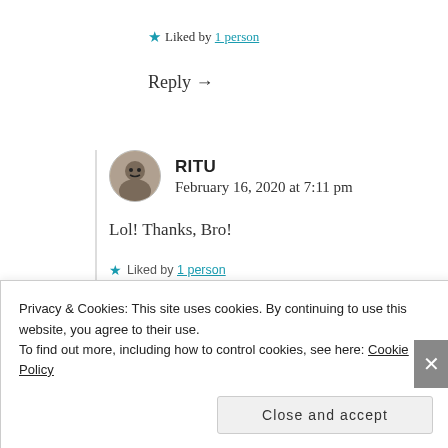★ Liked by 1 person
Reply →
RITU
February 16, 2020 at 7:11 pm
Lol! Thanks, Bro!
★ Liked by 1 person
Reply →
Privacy & Cookies: This site uses cookies. By continuing to use this website, you agree to their use. To find out more, including how to control cookies, see here: Cookie Policy
Close and accept